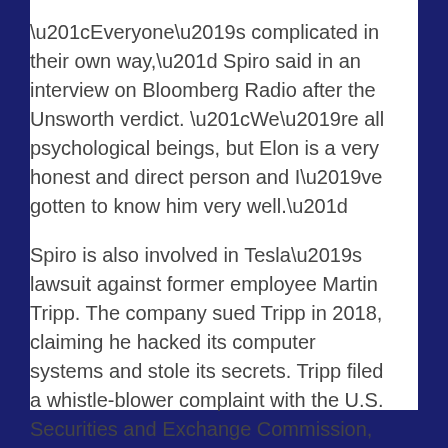“Everyone’s complicated in their own way,” Spiro said in an interview on Bloomberg Radio after the Unsworth verdict. “We’re all psychological beings, but Elon is a very honest and direct person and I’ve gotten to know him very well.”
Spiro is also involved in Tesla’s lawsuit against former employee Martin Tripp. The company sued Tripp in 2018, claiming he hacked its computer systems and stole its secrets. Tripp filed a whistle-blower complaint with the U.S. Securities and Exchange Commission, claiming Tesla used faulty batteries.
The case is Rocke v. Musk, 12711-VCS.